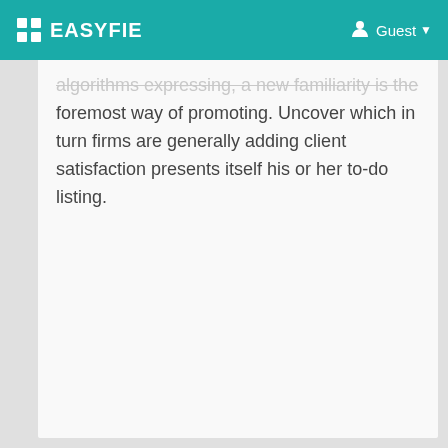EASYFIE | Guest
algorithms expressing, a new familiarity is the foremost way of promoting. Uncover which in turn firms are generally adding client satisfaction presents itself his or her to-do listing.